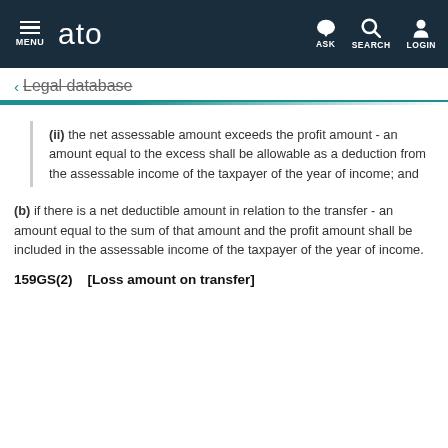MENU | ato | ASK | SEARCH | LOGIN
← Legal database
(ii) the net assessable amount exceeds the profit amount - an amount equal to the excess shall be allowable as a deduction from the assessable income of the taxpayer of the year of income; and
(b) if there is a net deductible amount in relation to the transfer - an amount equal to the sum of that amount and the profit amount shall be included in the assessable income of the taxpayer of the year of income.
159GS(2)    [Loss amount on transfer]